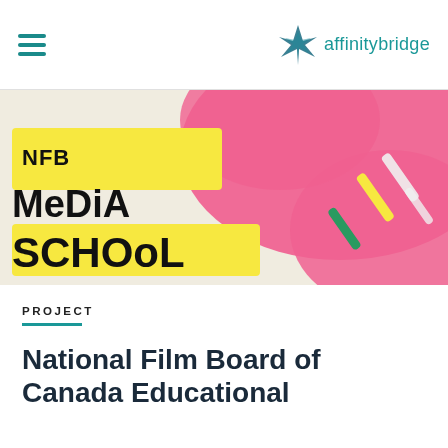affinitybridge
[Figure (illustration): NFB Media School banner with colorful abstract design including large pink shapes on a beige background, with bold yellow-highlighted text reading 'NFB MeDiA SCHOoL' and colorful diagonal lines.]
PROJECT
National Film Board of Canada Educational